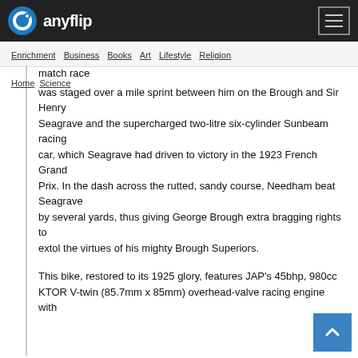anyflip
Enrichment  Business  Books  Art  Lifestyle  Religion
match race
was staged over a mile sprint between him on the Brough and Sir Henry
Seagrave and the supercharged two-litre six-cylinder Sunbeam racing
car, which Seagrave had driven to victory in the 1923 French Grand
Prix. In the dash across the rutted, sandy course, Needham beat Seagrave
by several yards, thus giving George Brough extra bragging rights to
extol the virtues of his mighty Brough Superiors.

This bike, restored to its 1925 glory, features JAP's 45bhp, 980cc
KTOR V-twin (85.7mm x 85mm) overhead-valve racing engine with